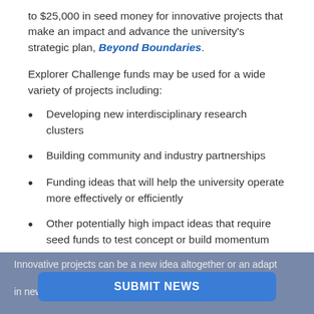to $25,000 in seed money for innovative projects that make an impact and advance the university's strategic plan, Beyond Boundaries.
Explorer Challenge funds may be used for a wide variety of projects including:
Developing new interdisciplinary research clusters
Building community and industry partnerships
Funding ideas that will help the university operate more effectively or efficiently
Other potentially high impact ideas that require seed funds to test concept or build momentum
Innovative projects can be a new idea altogether or an adaptation of something that has worked in one palette in new ways. Projects that are interdisciplinary and
SUBMIT NEWS